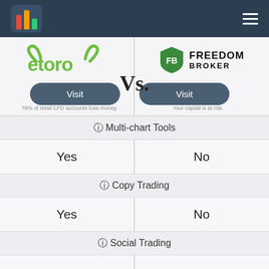StockBrokers comparison header with logo and menu
[Figure (logo): eToro logo - green text with bull horns icon]
[Figure (logo): Freedom Broker logo - green shield with FB letters]
Vs.
Visit
Visit
78% of retail CFD accounts lose money.
Your capital is at risk.
🛈 Multi-chart Tools
Yes
No
🛈 Copy Trading
Yes
No
🛈 Social Trading